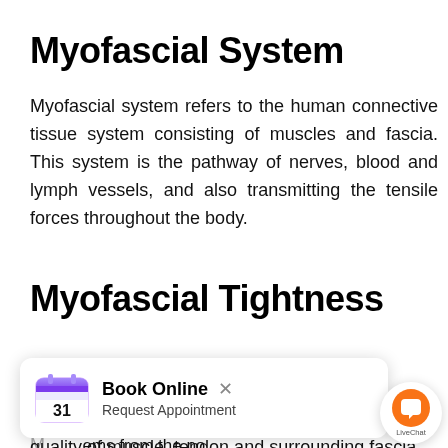Myofascial System
Myofascial system refers to the human connective tissue system consisting of muscles and fascia. This system is the pathway of nerves, blood and lymph vessels, and also transmitting the tensile forces throughout the body.
Myofascial Tightness
increases tension and pain
M... stems from the po... quality of muscle, tendon and surrounding fascia.
[Figure (screenshot): Book Online popup widget with calendar icon showing '31', title 'Book Online' with close X button, subtitle 'Request Appointment', and LiveChat orange chat bubble on the right]